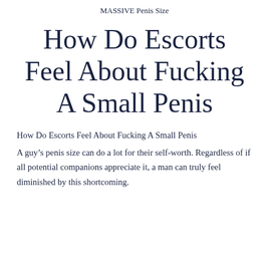MASSIVE Penis Size
How Do Escorts Feel About Fucking A Small Penis
How Do Escorts Feel About Fucking A Small Penis
A guy’s penis size can do a lot for their self-worth. Regardless of if all potential companions appreciate it, a man can truly feel diminished by this shortcoming.